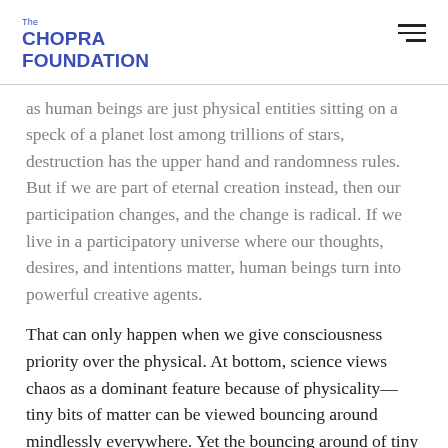The Chopra Foundation
as human beings are just physical entities sitting on a speck of a planet lost among trillions of stars, destruction has the upper hand and randomness rules. But if we are part of eternal creation instead, then our participation changes, and the change is radical. If we live in a participatory universe where our thoughts, desires, and intentions matter, human beings turn into powerful creative agents.
That can only happen when we give consciousness priority over the physical. At bottom, science views chaos as a dominant feature because of physicality—tiny bits of matter can be viewed bouncing around mindlessly everywhere. Yet the bouncing around of tiny bits of matter in our brains doesn't dominate at all